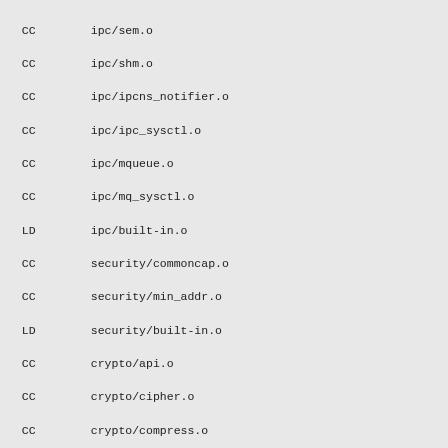CC        ipc/sem.o
  CC        ipc/shm.o
  CC        ipc/ipcns_notifier.o
  CC        ipc/ipc_sysctl.o
  CC        ipc/mqueue.o
  CC        ipc/mq_sysctl.o
  LD        ipc/built-in.o
  CC        security/commoncap.o
  CC        security/min_addr.o
  LD        security/built-in.o
  CC        crypto/api.o
  CC        crypto/cipher.o
  CC        crypto/compress.o
  CC        crypto/algapi.o
  CC        crypto/scatterwalk.o
  CC        crypto/proc.o
  CC        crypto/ablkcipher.o
  CC        crypto/blkcipher.o
  CC        crypto/ahash.o
  CC        crypto/shash.o
  CC        crypto/algboss.o
  CC        crypto/testmgr.o
/crypto/testmgr.c: In function 'alg_test_cprng':
/crypto/testmgr.c:1204: warning: 'err' may be used uninitialized in
  LD        crypto/crypto.o
  CC        crypto/crypto_wq.o
  LD        crypto/crypto_algapi.o